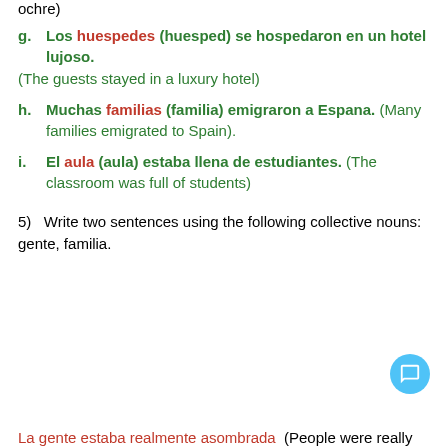ochre)
g.   Los huespedes (huesped) se hospedaron en un hotel lujoso. (The guests stayed in a luxury hotel)
h.   Muchas familias (familia) emigraron a Espana. (Many families emigrated to Spain).
i.   El aula (aula) estaba llena de estudiantes. (The classroom was full of students)
5)   Write two sentences using the following collective nouns: gente, familia.
La gente estaba realmente asombrada  (People were really